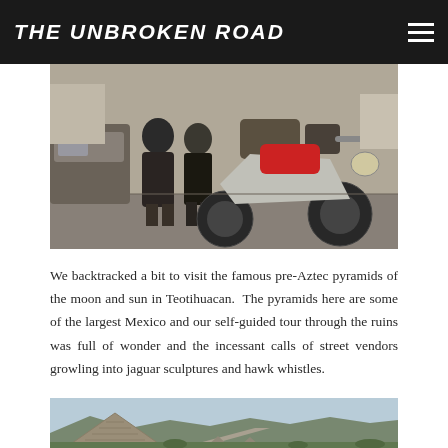THE UNBROKEN ROAD
[Figure (photo): Two people standing next to a loaded adventure motorcycle (red and white, appears to be a Cagiva or similar dual-sport bike) on a street, with a car and buildings visible in the background.]
We backtracked a bit to visit the famous pre-Aztec pyramids of the moon and sun in Teotihuacan. The pyramids here are some of the largest Mexico and our self-guided tour through the ruins was full of wonder and the incessant calls of street vendors growling into jaguar sculptures and hawk whistles.
[Figure (photo): Wide landscape view of the Teotihuacan archaeological site showing the large Pyramid of the Sun on the left with mountains and the Avenue of the Dead stretching into the distance under a blue sky.]